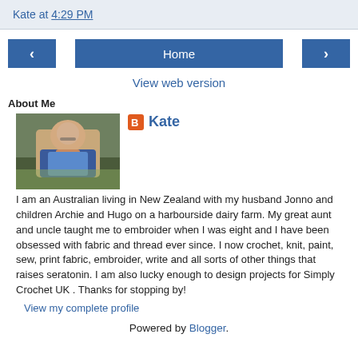Kate at 4:29 PM
‹  Home  ›
View web version
About Me
[Figure (photo): Profile photo of Kate, a woman with glasses hugged by a child outdoors]
Kate
I am an Australian living in New Zealand with my husband Jonno and children Archie and Hugo on a harbourside dairy farm. My great aunt and uncle taught me to embroider when I was eight and I have been obsessed with fabric and thread ever since. I now crochet, knit, paint, sew, print fabric, embroider, write and all sorts of other things that raises seratonin. I am also lucky enough to design projects for Simply Crochet UK . Thanks for stopping by!
View my complete profile
Powered by Blogger.